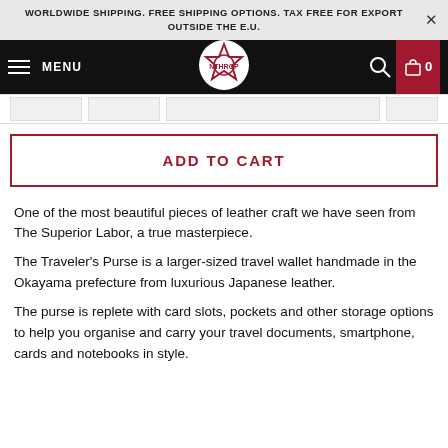WORLDWIDE SHIPPING. FREE SHIPPING OPTIONS. TAX FREE FOR EXPORT OUTSIDE THE E.U.
[Figure (logo): E-commerce navigation bar with hamburger menu, MENU label, circular red star logo, search icon, and cart icon with count 0]
[Figure (other): Thumbnail strip with three product image placeholders]
ADD TO CART
One of the most beautiful pieces of leather craft we have seen from The Superior Labor, a true masterpiece.
The Traveler's Purse is a larger-sized travel wallet handmade in the Okayama prefecture from luxurious Japanese leather.
The purse is replete with card slots, pockets and other storage options to help you organise and carry your travel documents, smartphone, cards and notebooks in style.